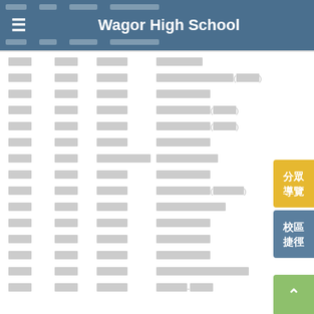Wagor High School
|  |  |  |  |
| --- | --- | --- | --- |
| □□□ | □□□ | □□□□ | □□□□□□ |
| □□□ | □□□ | □□□□ | □□□□□□□□□□(□□□) |
| □□□ | □□□ | □□□□ | □□□□□□□ |
| □□□ | □□□ | □□□□ | □□□□□□□(□□□) |
| □□□ | □□□ | □□□□ | □□□□□□□(□□□) |
| □□□ | □□□ | □□□□ | □□□□□□□ |
| □□□ | □□□ | □□□□□□□ | □□□□□□□□ |
| □□□ | □□□ | □□□□ | □□□□□□□ |
| □□□ | □□□ | □□□□ | □□□□□□□(□□□□) |
| □□□ | □□□ | □□□□ | □□□□□□□□□ |
| □□□ | □□□ | □□□□ | □□□□□□□ |
| □□□ | □□□ | □□□□ | □□□□□□□ |
| □□□ | □□□ | □□□□ | □□□□□□□ |
| □□□ | □□□ | □□□□ | □□□□□□□□□□□□ |
| □□□ | □□□ | □□□□ | □□□□-□□□ |
分眾導覽
校區捷徑